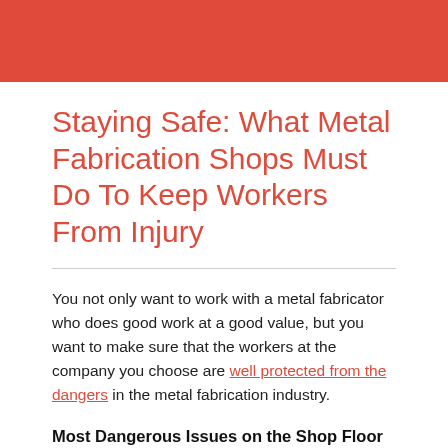Staying Safe: What Metal Fabrication Shops Must Do To Keep Workers From Injury
You not only want to work with a metal fabricator who does good work at a good value, but you want to make sure that the workers at the company you choose are well protected from the dangers in the metal fabrication industry.
Most Dangerous Issues on the Shop Floor
There are three main areas where most injuries happen on the shop floor. Safety equipment, sharp objects, training, and more.